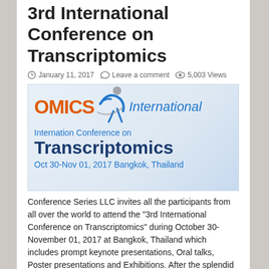3rd International Conference on Transcriptomics
January 11, 2017   Leave a comment   5,003 Views
[Figure (logo): OMICS International logo with stylized human figure, followed by conference banner: Internation Conference on Transcriptomics, Oct 30-Nov 01, 2017 Bangkok, Thailand]
Conference Series LLC invites all the participants from all over the world to attend the “3rd International Conference on Transcriptomics” during October 30- November 01, 2017 at Bangkok, Thailand which includes prompt keynote presentations, Oral talks, Poster presentations and Exhibitions. After the splendid success of ...
Read More »